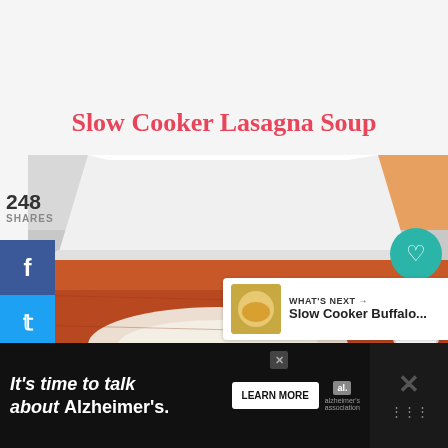Slow Cooker Lasagna Soup
[Figure (photo): Close-up photo of lasagna soup in a white bowl with cheese dollop on top, orange/red tomato broth visible]
248
SHARES
[Figure (infographic): Social share sidebar with Facebook, Twitter, and Pinterest buttons]
249
[Figure (infographic): Heart/like button (teal) and share button on right side]
WHAT'S NEXT → Slow Cooker Buffalo...
It's time to talk about Alzheimer's.
LEARN MORE